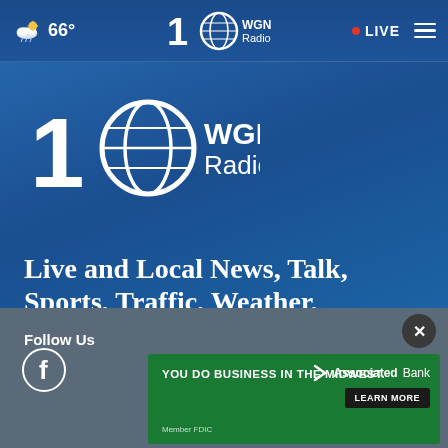66° WGN Radio 100 • LIVE
[Figure (logo): WGN Radio 100th anniversary logo - large version on blue gradient background]
Live and Local News, Talk, Sports, Traffic, Weather, Business, Blackhawks hockey, Northwestern football and basketball
Follow Us
[Figure (logo): Facebook icon circle logo in white]
[Figure (infographic): Associated Bank advertisement banner: YOU DO BUSINESS IN THE MIDWEST. AssociatedBank LEARN MORE. Member FDIC]